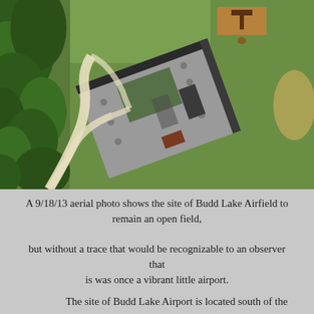[Figure (photo): Aerial satellite photo showing the site of Budd Lake Airfield from above, displaying a building with a rooftop viewed from directly overhead, surrounded by green grass, trees on the left, and what appears to be a parking area or driveway. A rectangular marking or sign is visible in the upper right of the grassy area.]
A 9/18/13 aerial photo shows the site of Budd Lake Airfield to remain an open field, but without a trace that would be recognizable to an observer that is was once a vibrant little airport.
The site of Budd Lake Airport is located south of the